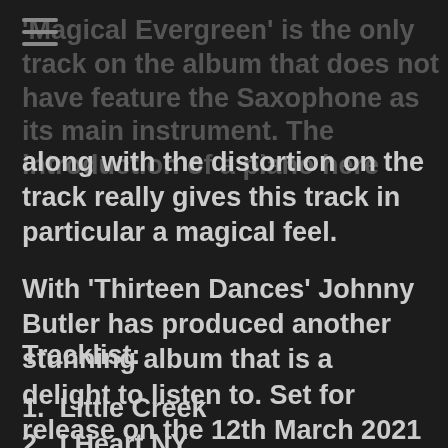'Magical Evergreen' is the only track on the album that does not have feature the Saxophone as its main instrument. The introduction of a piano here along with the distortion on the track really gives this track in particular a magical feel.
With 'Thirteen Dances' Johnny Butler has produced another stunning album that is a delight to listen to. Set for release on the 12th March 2021 this is an album that you should definitely pick up on release.
Tracklist:
1.  Little Creek
2.  I Heart NY